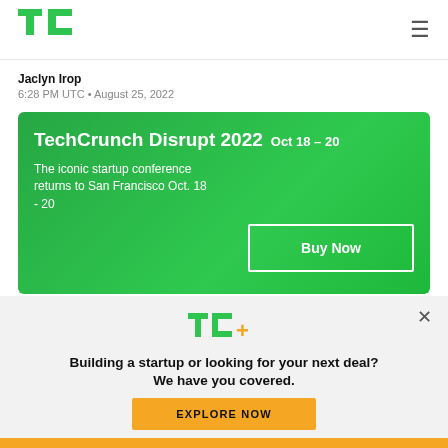TechCrunch logo and hamburger menu
Jaclyn Irop
6:28 PM UTC • August 25, 2022
[Figure (infographic): TechCrunch Disrupt 2022 green banner advertisement. Text: TechCrunch Disrupt 2022  Oct 18-20. The iconic startup conference returns to San Francisco Oct. 18-20. Buy Now button.]
[Figure (infographic): TC+ promotional overlay on grey background. Heading: Building a startup or looking for your next deal? We have you covered. Button: EXPLORE NOW]